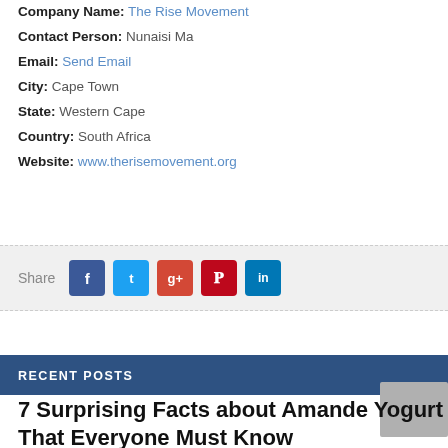Company Name: The Rise Movement
Contact Person: Nunaisi Ma
Email: Send Email
City: Cape Town
State: Western Cape
Country: South Africa
Website: www.therisemovement.org
[Figure (infographic): Share bar with social media buttons: Facebook (blue), Twitter (cyan), Google+ (orange-red), Pinterest (red), LinkedIn (blue)]
RECENT POSTS
7 Surprising Facts about Amande Yogurt That Everyone Must Know